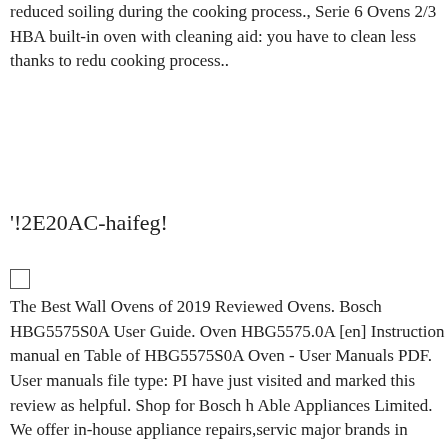reduced soiling during the cooking process., Serie 6 Ovens 2/3 HBA built-in oven with cleaning aid: you have to clean less thanks to reduced soiling during the cooking process..
'!2E20AC-haifeg!
[Figure (other): Checkbox (unchecked square)]
The Best Wall Ovens of 2019 Reviewed Ovens. Bosch HBG5575S0A User Guide. Oven HBG5575.0A [en] Instruction manual en Table of HBG5575S0A Oven - User Manuals PDF. User manuals file type: PI have just visited and marked this review as helpful. Shop for Bosch h Able Appliances Limited. We offer in-house appliance repairs,servic major brands in Auckland,NZ. Call 09 577 0007.
[Figure (other): Checkbox (unchecked square)]
Serie 6 Ovens 2/3 HBA13B253A Built-in Oven The built-in oven wi clean less thanks to reduced soiling during the cooking process. Wall serious home chefs and remodelers alike because they put your foo